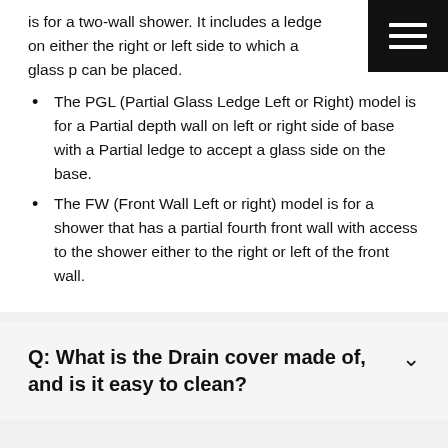is for a two-wall shower. It includes a ledge on either the right or left side to which a glass p can be placed.
The PGL (Partial Glass Ledge Left or Right) model is for a Partial depth wall on left or right side of base with a Partial ledge to accept a glass side on the base.
The FW (Front Wall Left or right) model is for a shower that has a partial fourth front wall with access to the shower either to the right or left of the front wall.
Q: What is the Drain cover made of, and is it easy to clean?